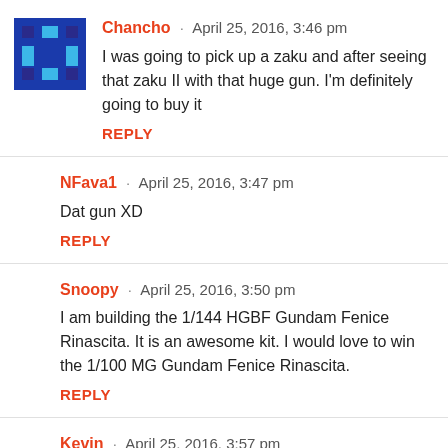[Figure (illustration): Pixel art avatar for user Chancho — blue and dark blue grid pattern on square background]
Chancho · April 25, 2016, 3:46 pm
I was going to pick up a zaku and after seeing that zaku II with that huge gun. I'm definitely going to buy it
REPLY
NFava1 · April 25, 2016, 3:47 pm
Dat gun XD
REPLY
Snoopy · April 25, 2016, 3:50 pm
I am building the 1/144 HGBF Gundam Fenice Rinascita. It is an awesome kit. I would love to win the 1/100 MG Gundam Fenice Rinascita.
REPLY
Kevin · April 25, 2016, 3:57 pm